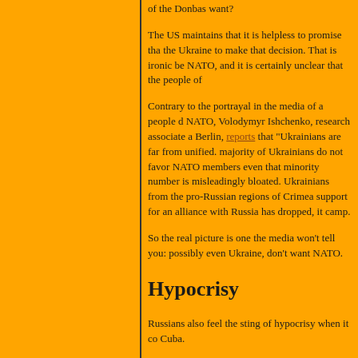of the Donbas want?
The US maintains that it is helpless to promise that the Ukraine to make that decision. That is ironic be NATO, and it is certainly unclear that the people of
Contrary to the portrayal in the media of a people d NATO, Volodymyr Ishchenko, research associate a Berlin, reports that "Ukrainians are far from unified. majority of Ukrainians do not favor NATO members even that minority number is misleadingly bloated. Ukrainians from the pro-Russian regions of Crimea support for an alliance with Russia has dropped, it camp.
Hypocrisy
Russians also feel the sting of hypocrisy when it co Cuba.
In 2008, the US supported the secession of Kosovo secession a gross violation of international law by position on Crimea . . . as nothing more than a cas
Sakwa points out in Frontline Ukraine that Kosovo even having a referendum. Yet "many Western cou independence despite repeated UN resolutions up points out that the US endorsed "the infamous adv Kosovo's declaration of independence 'did not viol